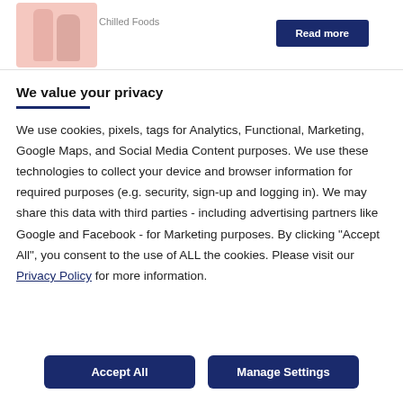[Figure (photo): Product image showing two Innocent brand chilled food/drink bottles with pink/blush coloring]
Chilled Foods
Read more
We value your privacy
We use cookies, pixels, tags for Analytics, Functional, Marketing, Google Maps, and Social Media Content purposes. We use these technologies to collect your device and browser information for required purposes (e.g. security, sign-up and logging in). We may share this data with third parties - including advertising partners like Google and Facebook - for Marketing purposes. By clicking "Accept All", you consent to the use of ALL the cookies. Please visit our Privacy Policy for more information.
Accept All
Manage Settings